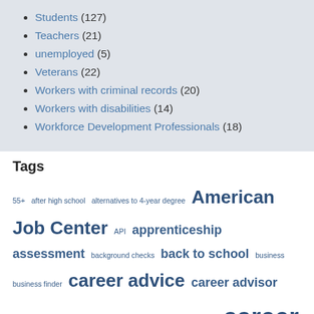Students (127)
Teachers (21)
unemployed (5)
Veterans (22)
Workers with criminal records (20)
Workers with disabilities (14)
Workforce Development Professionals (18)
Tags
55+ after high school alternatives to 4-year degree American Job Center API apprenticeship assessment background checks back to school business business finder career advice career advisor career advisors career changer Career clusters career exploration career goals career info career information CareerOneStop career options career pathways career planning career planning for kids